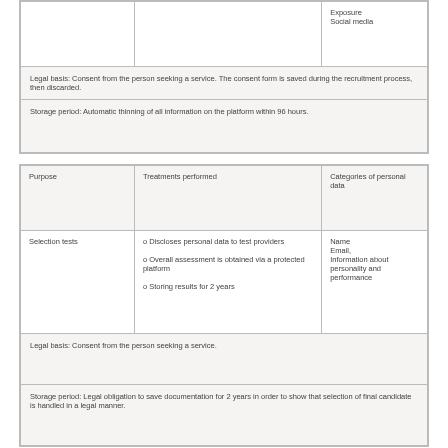|  |  | Exposure
Social media |
| Legal basis: Consent from the person seeking a service.  The consent form is saved during the recruitment process, then discarded. |  |  |
| Storage period: Automatic thinning of all information on the platform within 96 hours. |  |  |
| Purpose | Treatments performed | Categories of personal data |
| --- | --- | --- |
| Selection tests | o Discloses personal data to test providers

o Overall assessment is obtained via a protected platform

o Storing results for 2 years | Name
Email,
Information about personality and performance |
| Legal basis: Consent from the person seeking a service. |  |  |
| Storage period: Legal obligation to save documentation for 2 years in order to show that selection of final candidate is handled in a legal manner. |  |  |